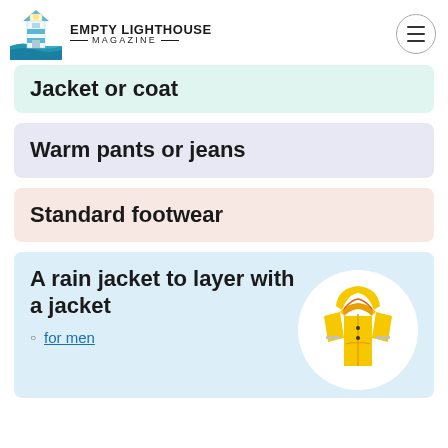Empty Lighthouse Magazine
Jacket or coat
Warm pants or jeans
Standard footwear
A rain jacket to layer with a jacket
for men